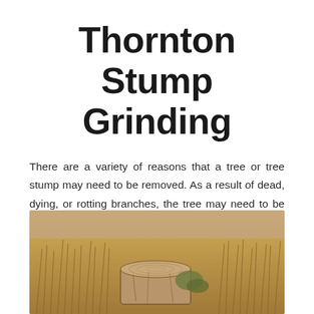Thornton Stump Grinding
There are a variety of reasons that a tree or tree stump may need to be removed. As a result of dead, dying, or rotting branches, the tree may need to be removed for health and safety reasons. If you're left with a stump that has the same fate, it could be good idea to have it removed to allow for surrounding grass and plants to grow in its place.
[Figure (photo): Photograph of an old weathered tree stump surrounded by dry golden grass in a field.]